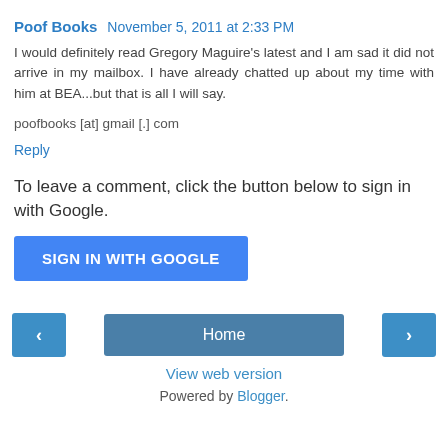Poof Books  November 5, 2011 at 2:33 PM
I would definitely read Gregory Maguire's latest and I am sad it did not arrive in my mailbox. I have already chatted up about my time with him at BEA...but that is all I will say.
poofbooks [at] gmail [.] com
Reply
To leave a comment, click the button below to sign in with Google.
SIGN IN WITH GOOGLE
Home
View web version
Powered by Blogger.